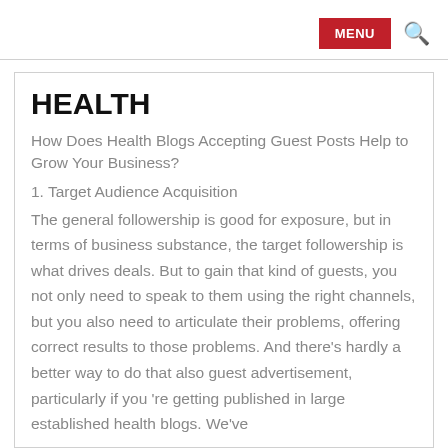MENU
HEALTH
How Does Health Blogs Accepting Guest Posts Help to Grow Your Business?
1. Target Audience Acquisition
The general followership is good for exposure, but in terms of business substance, the target followership is what drives deals. But to gain that kind of guests, you not only need to speak to them using the right channels, but you also need to articulate their problems, offering correct results to those problems. And there’s hardly a better way to do that also guest advertisement, particularly if you ’re getting published in large established health blogs. We’ve